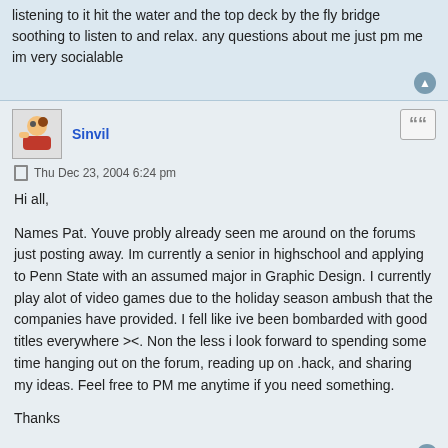listening to it hit the water and the top deck by the fly bridge soothing to listen to and relax. any questions about me just pm me im very socialable
Sinvil
Thu Dec 23, 2004 6:24 pm
Hi all,

Names Pat. Youve probly already seen me around on the forums just posting away. Im currently a senior in highschool and applying to Penn State with an assumed major in Graphic Design. I currently play alot of video games due to the holiday season ambush that the companies have provided. I fell like ive been bombarded with good titles everywhere ><. Non the less i look forward to spending some time hanging out on the forum, reading up on .hack, and sharing my ideas. Feel free to PM me anytime if you need something.

Thanks
Post Reply | tools | sort | 4795 posts | 1 2 3 4 5 ... 240 >